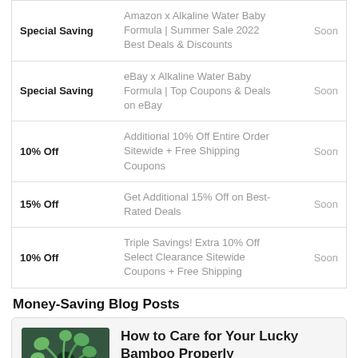| Type | Description | Availability |
| --- | --- | --- |
| Special Saving | Amazon x Alkaline Water Baby Formula | Summer Sale 2022 Best Deals & Discounts | Soon |
| Special Saving | eBay x Alkaline Water Baby Formula | Top Coupons & Deals on eBay | Soon |
| 10% Off | Additional 10% Off Entire Order Sitewide + Free Shipping Coupons | Soon |
| 15% Off | Get Additional 15% Off on Best-Rated Deals | Soon |
| 10% Off | Triple Savings! Extra 10% Off Select Clearance Sitewide Coupons + Free Shipping | Soon |
Money-Saving Blog Posts
[Figure (photo): Person holding a green lucky bamboo plant]
How to Care for Your Lucky Bamboo Properly
by Elizabeth Matthews | July 27, 2022